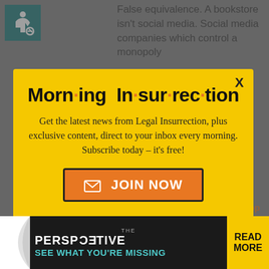[Figure (screenshot): Background page with accessibility icon and partially visible article text about false equivalence, bookstore vs social media]
[Figure (infographic): Yellow popup modal for Morning Insurrection newsletter subscription with JOIN NOW button]
Morn·ing In·sur·rec·tion
Get the latest news from Legal Insurrection, plus exclusive content, direct to your inbox every morning. Subscribe today – it's free!
[Figure (infographic): Bottom advertisement banner: THE PERSPECTIVE / EVITCEPSREP - SEE WHAT YOU'RE MISSING with READ MORE button]